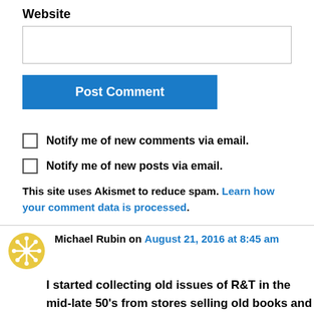Website
Post Comment
Notify me of new comments via email.
Notify me of new posts via email.
This site uses Akismet to reduce spam. Learn how your comment data is processed.
Michael Rubin on August 21, 2016 at 8:45 am
I started collecting old issues of R&T in the mid-late 50's from stores selling old books and magazines in Pasadena and picked up old